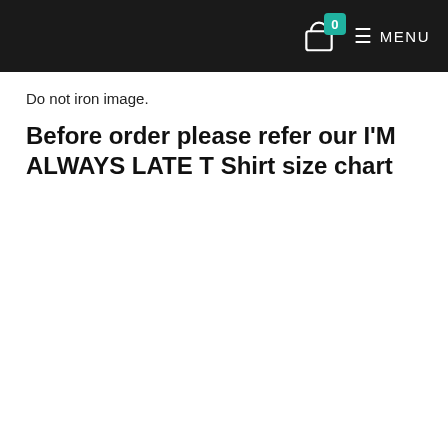0  MENU
Do not iron image.
Before order please refer our I'M ALWAYS LATE T Shirt size chart